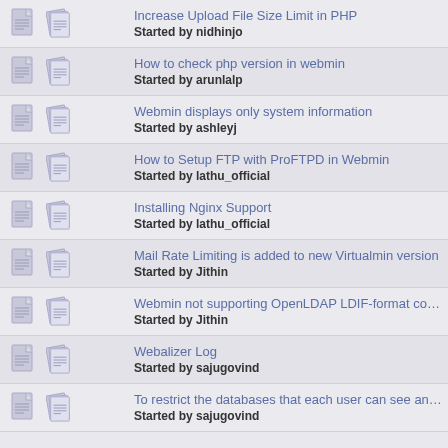Increase Upload File Size Limit in PHP
Started by nidhinjo
How to check php version in webmin
Started by arunlalp
Webmin displays only system information
Started by ashleyj
How to Setup FTP with ProFTPD in Webmin
Started by lathu_official
Installing Nginx Support
Started by lathu_official
Mail Rate Limiting is added to new Virtualmin version
Started by Jithin
Webmin not supporting OpenLDAP LDIF-format configuration files.
Started by Jithin
Webalizer Log
Started by sajugovind
To restrict the databases that each user can see and use - Usermin
Started by sajugovind